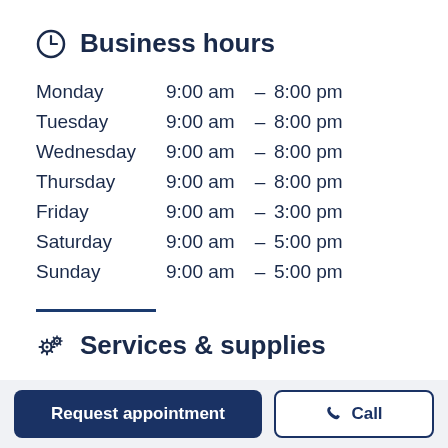Business hours
| Day | Open |  | Close |
| --- | --- | --- | --- |
| Monday | 9:00 am | – | 8:00 pm |
| Tuesday | 9:00 am | – | 8:00 pm |
| Wednesday | 9:00 am | – | 8:00 pm |
| Thursday | 9:00 am | – | 8:00 pm |
| Friday | 9:00 am | – | 3:00 pm |
| Saturday | 9:00 am | – | 5:00 pm |
| Sunday | 9:00 am | – | 5:00 pm |
Services & supplies
Request appointment
Call